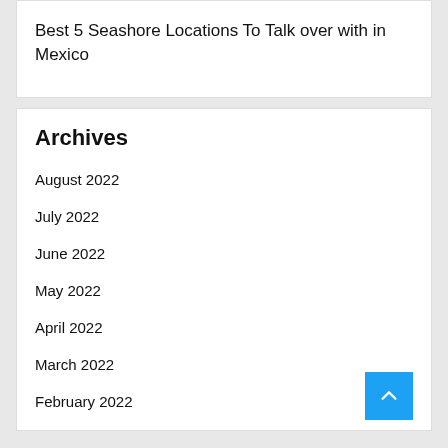Best 5 Seashore Locations To Talk over with in Mexico
Archives
August 2022
July 2022
June 2022
May 2022
April 2022
March 2022
February 2022